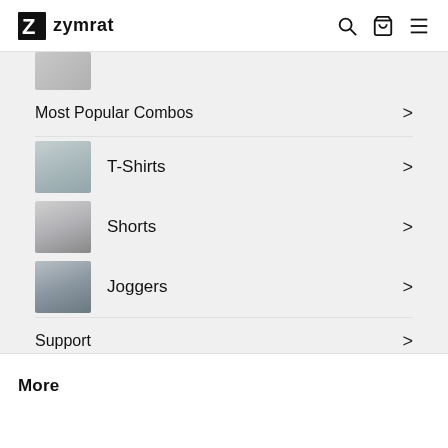zymrat
[Figure (screenshot): Partial cropped product thumbnail at top of menu]
Most Popular Combos >
T-Shirts >
Shorts >
Joggers >
Support >
Why We Exist >
More